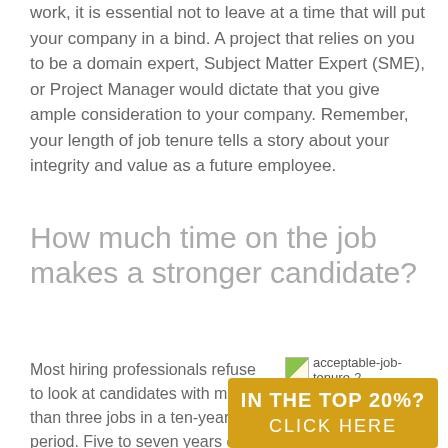work, it is essential not to leave at a time that will put your company in a bind. A project that relies on you to be a domain expert, Subject Matter Expert (SME), or Project Manager would dictate that you give ample consideration to your company. Remember, your length of job tenure tells a story about your integrity and value as a future employee.
How much time on the job makes a stronger candidate?
Most hiring professionals refuse to look at candidates with more than three jobs in a ten-year period. Five to seven years on a job is ideal for engineering and professional
[Figure (photo): Image placeholder labeled 'acceptable-job-tenure-2']
IN THE TOP 20%? CLICK HERE